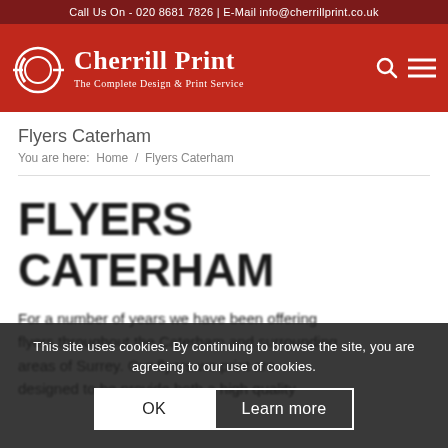Call Us On - 020 8681 7826 | E-Mail info@cherrillprint.co.uk
[Figure (logo): Cherrill Print logo with stylized CP monogram in white on red background, with text 'Cherrill Print' and subtitle 'The Complete Design & Print Service']
Flyers Caterham
You are here:  Home  /  Flyers Caterham
FLYERS CATERHAM
For a number of years we have been offering flyers throughout the Caterham and surrounding areas of Surrey. Our flyers we print are designed to be provide both a high quality
This site uses cookies. By continuing to browse the site, you are agreeing to our use of cookies.